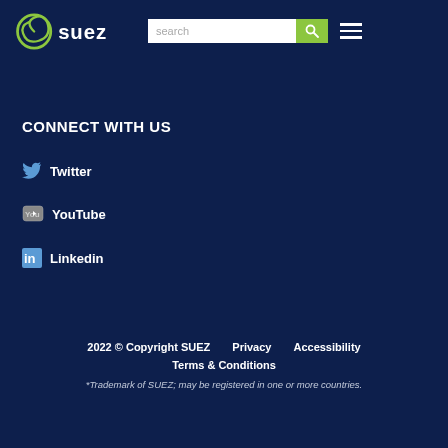SUEZ logo with search bar and navigation menu
CONNECT WITH US
Twitter
YouTube
Linkedin
2022 © Copyright SUEZ   Privacy   Accessibility   Terms & Conditions   *Trademark of SUEZ; may be registered in one or more countries.